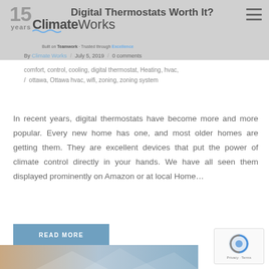Climate Works — 15 Years
Digital Thermostats Worth It?
By Climate Works / July 5, 2019 / 0 comments
comfort, control, cooling, digital thermostat, Heating, hvac, / ottawa, Ottawa hvac, wifi, zoning, zoning system
In recent years, digital thermostats have become more and more popular. Every new home has one, and most older homes are getting them. They are excellent devices that put the power of climate control directly in your hands. We have all seen them displayed prominently on Amazon or at local Home...
READ MORE
[Figure (logo): reCAPTCHA logo with Privacy and Terms text]
[Figure (photo): Bottom strip photo of building/HVAC related image]